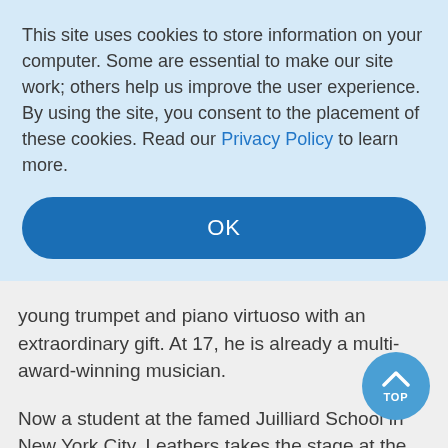This site uses cookies to store information on your computer. Some are essential to make our site work; others help us improve the user experience. By using the site, you consent to the placement of these cookies. Read our Privacy Policy to learn more.
OK
young trumpet and piano virtuoso with an extraordinary gift. At 17, he is already a multi-award-winning musician.
Now a student at the famed Juilliard School in New York City, Leathers takes the stage at the Museum with his father, Howard Leathers, trumpeter and vocalist, to share their musical